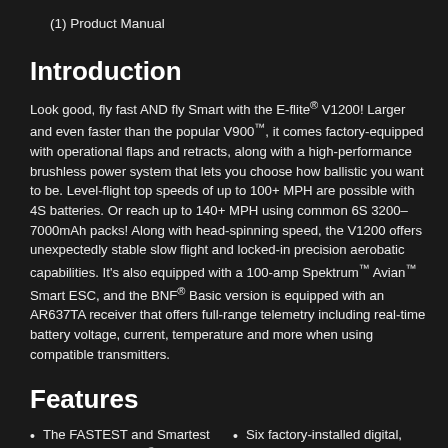(1) Product Manual
Introduction
Look good, fly fast AND fly Smart with the E-flite® V1200! Larger and even faster than the popular V900™, it comes factory-equipped with operational flaps and retracts, along with a high-performance brushless power system that lets you choose how ballistic you want to be. Level-flight top speeds of up to 100+ MPH are possible with 4S batteries. Or reach up to 140+ MPH using common 6S 3200–7000mAh packs! Along with head-spinning speed, the V1200 offers unexpectedly stable slow flight and locked-in precision aerobatic capabilities. It's also equipped with a 100-amp Spektrum™ Avian™ Smart ESC, and the BNF® Basic version is equipped with an AR637TA receiver that offers full-range telemetry including real-time battery voltage, current, temperature and more when using compatible transmitters.
Features
The FASTEST and Smartest prop-driven E-flite® airplane yet
A scaled-up version of the popular V900 equipped
Six factory-installed digital, metal-geared servos with precise ball-link equipped linkages
Functional flaps for shorter takeoffs and